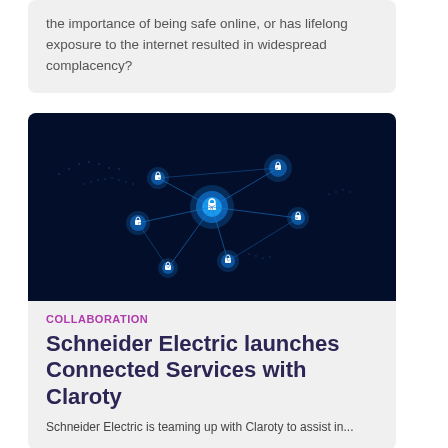the importance of being safe online, or has lifelong exposure to the internet resulted in widespread complacency?
[Figure (photo): Dark blue digital network background with glowing hexagonal nodes connected by lines, each node containing a padlock icon, overlaid on a world map silhouette.]
COLLABORATION
Schneider Electric launches Connected Services with Claroty
Schneider Electric is teaming up with Claroty to assist in...